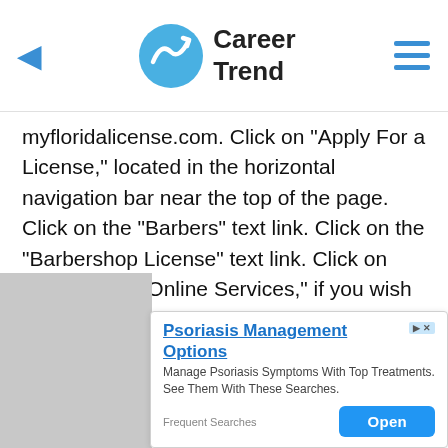Career Trend
myfloridalicense.com. Click on "Apply For a License," located in the horizontal navigation bar near the top of the page. Click on the "Barbers" text link. Click on the "Barbershop License" text link. Click on "Apply Using Online Services," if you wish to apply online or click on "Apply Using a Printable Application" if you prefer to mail your application.
Pay the licensing fee of $130 when you file the application. Pay with a credit card if you are applying online. Depar... Regula...
[Figure (screenshot): Advertisement overlay for Psoriasis Management Options with Open button]